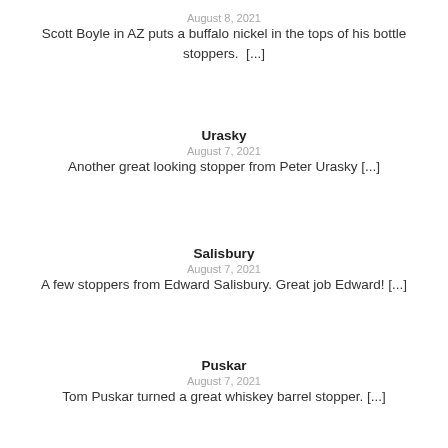August 8, 2021
Scott Boyle in AZ puts a buffalo nickel in the tops of his bottle stoppers.  [...]
Urasky
August 7, 2021
Another great looking stopper from Peter Urasky [...]
Salisbury
August 7, 2021
A few stoppers from Edward Salisbury. Great job Edward! [...]
Puskar
August 7, 2021
Tom Puskar turned a great whiskey barrel stopper. [...]